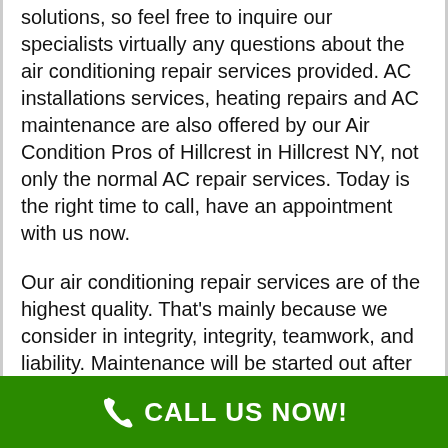solutions, so feel free to inquire our specialists virtually any questions about the air conditioning repair services provided. AC installations services, heating repairs and AC maintenance are also offered by our Air Condition Pros of Hillcrest in Hillcrest NY, not only the normal AC repair services. Today is the right time to call, have an appointment with us now.

Our air conditioning repair services are of the highest quality. That's mainly because we consider in integrity, integrity, teamwork, and liability. Maintenance will be started out after an estimate is done our AC repair technicians in your Hillcrest NY. The specialists will start the works once the client agrees on the expense of the task. Don't be shy to inquire our technicians because they are taught to be clear with the assistance and its prices. You can ask any questions concerning our presented services in air conditioning. In Hillcrest NY, our Air Condition Pros of Hillcrest does not offer only AC
CALL US NOW!